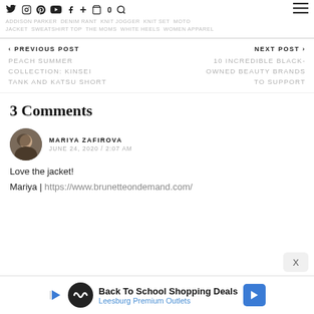Social icons and tag navigation bar with tags: ADDISON PARKER, DENIM RANT, KNIT JOGGER, KNIT SET, MOTO JACKET, SWEATSHIRT TOP, THE MOMS, WHITE HEELS, WOMEN APPAREL
‹ PREVIOUS POST
PEACH SUMMER COLLECTION: KINSEI TANK AND KATSU SHORT
NEXT POST ›
10 INCREDIBLE BLACK-OWNED BEAUTY BRANDS TO SUPPORT
3 Comments
MARIYA ZAFIROVA
JUNE 24, 2020 / 2:07 AM
Love the jacket!
Mariya | https://www.brunetteondemand.com/
[Figure (screenshot): Advertisement bar: Back To School Shopping Deals, Leesburg Premium Outlets]
Back To School Shopping Deals
Leesburg Premium Outlets